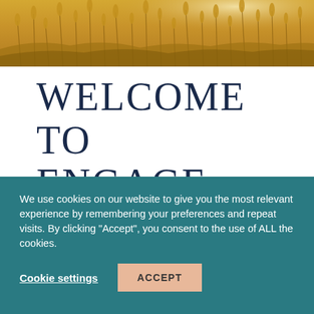[Figure (photo): Golden wheat field photograph used as a page banner at the top of the page.]
WELCOME TO ENGAGE WEDDINGS
We use cookies on our website to give you the most relevant experience by remembering your preferences and repeat visits. By clicking “Accept”, you consent to the use of ALL the cookies.
Cookie settings   ACCEPT